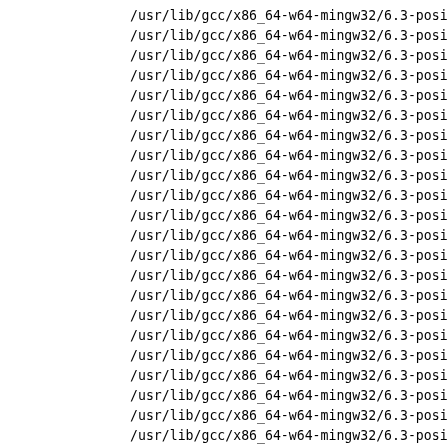/usr/lib/gcc/x86_64-w64-mingw32/6.3-posix/adainclu
/usr/lib/gcc/x86_64-w64-mingw32/6.3-posix/adainclu
/usr/lib/gcc/x86_64-w64-mingw32/6.3-posix/adainclu
/usr/lib/gcc/x86_64-w64-mingw32/6.3-posix/adainclu
/usr/lib/gcc/x86_64-w64-mingw32/6.3-posix/adainclu
/usr/lib/gcc/x86_64-w64-mingw32/6.3-posix/adainclu
/usr/lib/gcc/x86_64-w64-mingw32/6.3-posix/adainclu
/usr/lib/gcc/x86_64-w64-mingw32/6.3-posix/adainclu
/usr/lib/gcc/x86_64-w64-mingw32/6.3-posix/adainclu
/usr/lib/gcc/x86_64-w64-mingw32/6.3-posix/adainclu
/usr/lib/gcc/x86_64-w64-mingw32/6.3-posix/adainclu
/usr/lib/gcc/x86_64-w64-mingw32/6.3-posix/adainclu
/usr/lib/gcc/x86_64-w64-mingw32/6.3-posix/adainclu
/usr/lib/gcc/x86_64-w64-mingw32/6.3-posix/adainclu
/usr/lib/gcc/x86_64-w64-mingw32/6.3-posix/adainclu
/usr/lib/gcc/x86_64-w64-mingw32/6.3-posix/adainclu
/usr/lib/gcc/x86_64-w64-mingw32/6.3-posix/adainclu
/usr/lib/gcc/x86_64-w64-mingw32/6.3-posix/adainclu
/usr/lib/gcc/x86_64-w64-mingw32/6.3-posix/adainclu
/usr/lib/gcc/x86_64-w64-mingw32/6.3-posix/adainclu
/usr/lib/gcc/x86_64-w64-mingw32/6.3-posix/adainclu
/usr/lib/gcc/x86_64-w64-mingw32/6.3-posix/adainclu
/usr/lib/gcc/x86_64-w64-mingw32/6.3-posix/adainclu